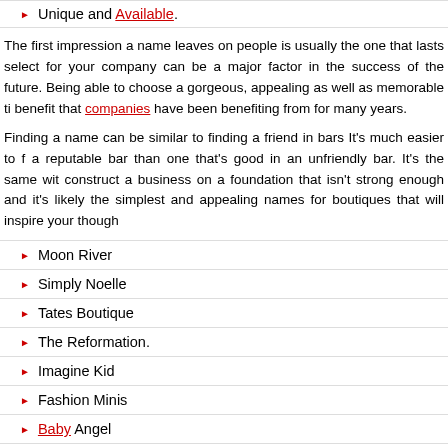Unique and Available.
The first impression a name leaves on people is usually the one that lasts select for your company can be a major factor in the success of the future. Being able to choose a gorgeous, appealing as well as memorable ti benefit that companies have been benefiting from for many years.
Finding a name can be similar to finding a friend in bars It’s much easier to f a reputable bar than one that’s good in an unfriendly bar. It’s the same wit construct a business on a foundation that isn’t strong enough and it’s likely the simplest and appealing names for boutiques that will inspire your though
Moon River
Simply Noelle
Tates Boutique
The Reformation.
Imagine Kid
Fashion Minis
Baby Angel
How To Create Attractive Boutique Name